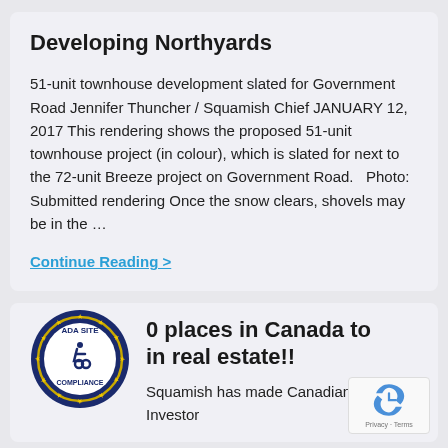Developing Northyards
51-unit townhouse development slated for Government Road Jennifer Thuncher / Squamish Chief JANUARY 12, 2017 This rendering shows the proposed 51-unit townhouse project (in colour), which is slated for next to the 72-unit Breeze project on Government Road.   Photo: Submitted rendering Once the snow clears, shovels may be in the …
Continue Reading >
[Figure (logo): ADA Site Compliance badge — circular dark blue badge with gold stars and wheelchair accessibility icon]
0 places in Canada to in real estate!!
Squamish has made Canadian Property Investor